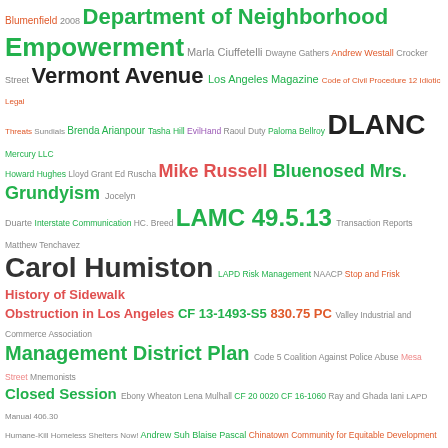[Figure (infographic): A word cloud containing various terms related to Los Angeles government, neighborhoods, legal topics, and public figures. Words appear in varying sizes and colors (green, red, blue, orange, purple, gray, black, teal, pink) reflecting their relative frequency or importance.]